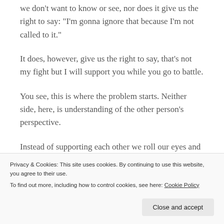we don't want to know or see, nor does it give us the right to say: “I’m gonna ignore that because I’m not called to it.”
It does, however, give us the right to say, that’s not my fight but I will support you while you go to battle.
You see, this is where the problem starts. Neither side, here, is understanding of the other person’s perspective.
Instead of supporting each other we roll our eyes and mutter: ‘Seriously, your perspective is messed up!’
How can we be so sure tho? Who are we to say that God should speak to everyone the way he speaks to me? Maybe
Privacy & Cookies: This site uses cookies. By continuing to use this website, you agree to their use.
To find out more, including how to control cookies, see here: Cookie Policy